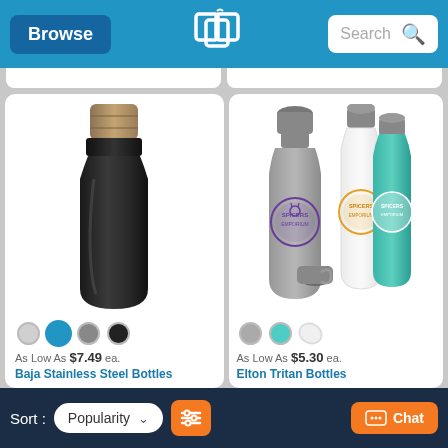Browse | Search
[Figure (photo): Black stainless steel water bottle with bamboo lid, shown on white background]
As Low As $7.49 ea.
Baja Stainless Steel Bottles
[Figure (photo): Three Tritan water bottles in gray, white, and teal with Spicers Emporium logo, with cap shown separately]
As Low As $5.30 ea.
Elton Tritan Bottles
Sort: Popularity | Filter | Chat